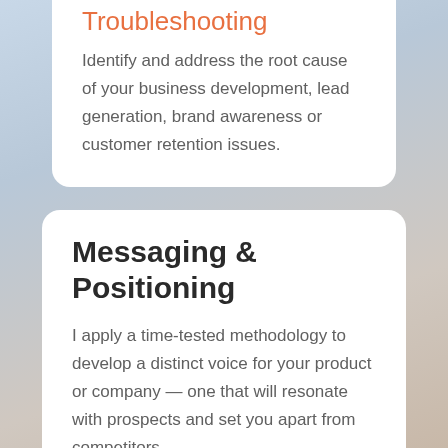Troubleshooting
Identify and address the root cause of your business development, lead generation, brand awareness or customer retention issues.
Messaging & Positioning
I apply a time-tested methodology to develop a distinct voice for your product or company — one that will resonate with prospects and set you apart from competitors.